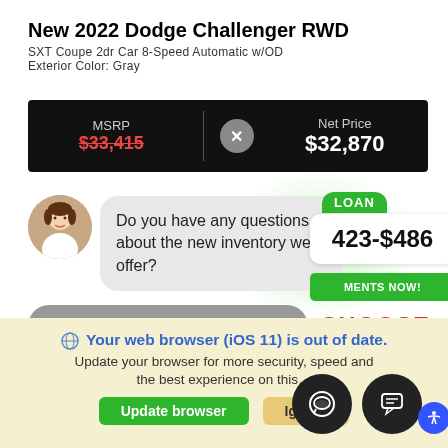New 2022 Dodge Challenger RWD
SXT Coupe 2dr Car 8-Speed Automatic w/OD
Exterior Color: Gray
| MSRP |  | Net Price |
| --- | --- | --- |
| $33,415 (strikethrough) | × | $32,870 |
[Figure (screenshot): Chat widget overlay with avatar of a woman, chat bubble saying 'Do you have any questions about the new inventory we offer?', LOAN badge, payment range '$23-$486', green GET PAYMENTS NOW button, Schedule Service gray button, message input field, CHOOSE text in red]
website and our service.
Your web browser (iOS 11) is out of date. Update your browser for more security, speed and the best experience on this…
Update browser   Ignore